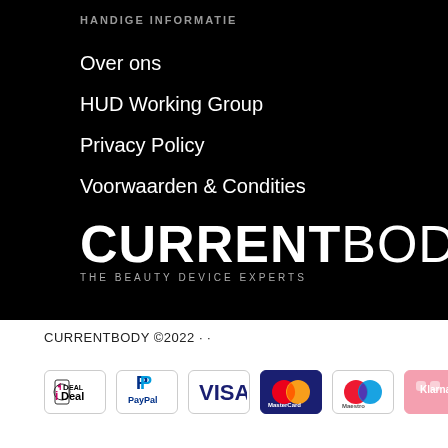HANDIGE INFORMATIE
Over ons
HUD Working Group
Privacy Policy
Voorwaarden & Condities
[Figure (logo): CurrentBody The Beauty Device Experts logo in white on black background]
CURRENTBODY ©2022 · ·
[Figure (infographic): Payment method icons: iDEAL, PayPal, VISA, MasterCard, Maestro, Klarna]